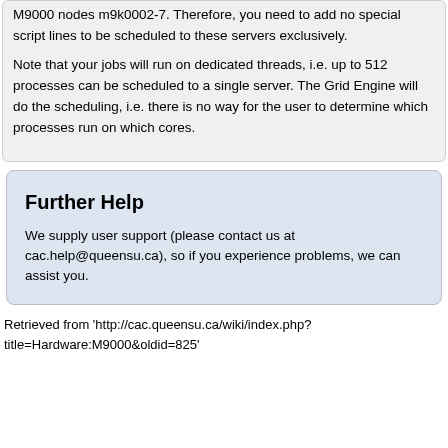M9000 nodes m9k0002-7. Therefore, you need to add no special script lines to be scheduled to these servers exclusively.

Note that your jobs will run on dedicated threads, i.e. up to 512 processes can be scheduled to a single server. The Grid Engine will do the scheduling, i.e. there is no way for the user to determine which processes run on which cores.
Further Help
We supply user support (please contact us at cac.help@queensu.ca), so if you experience problems, we can assist you.
Retrieved from 'http://cac.queensu.ca/wiki/index.php?title=Hardware:M9000&oldid=825'